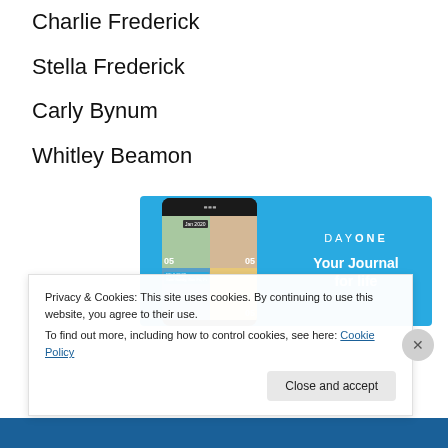Charlie Frederick
Stella Frederick
Carly Bynum
Whitley Beamon
[Figure (screenshot): Day One app screenshot showing photo journal grid with 'DAYONE - Your Journal for life' branding on blue background]
Privacy & Cookies: This site uses cookies. By continuing to use this website, you agree to their use.
To find out more, including how to control cookies, see here: Cookie Policy